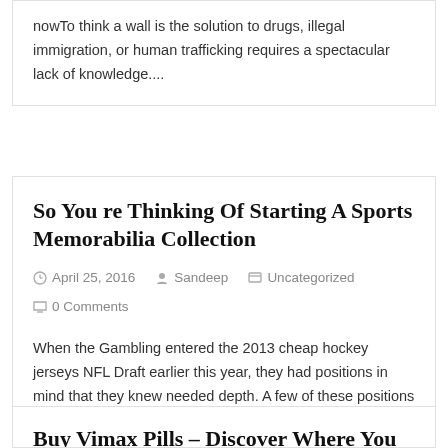nowTo think a wall is the solution to drugs, illegal immigration, or human trafficking requires a spectacular lack of knowledge....
So You re Thinking Of Starting A Sports Memorabilia Collection
April 25, 2016   Sandeep   Uncategorized   0 Comments
When the Gambling entered the 2013 cheap hockey jerseys NFL Draft earlier this year, they had positions in mind that they knew needed depth. A few of these positions were…
Buy Vimax Pills – Discover Where You Can